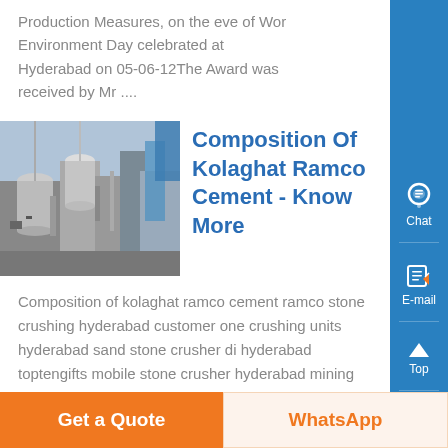Production Measures, on the eve of World Environment Day celebrated at Hyderabad on 05-06-12The Award was received by Mr ....
[Figure (photo): Industrial cement plant machinery with tanks and equipment]
Composition Of Kolaghat Ramco Cement - Know More
Composition of kolaghat ramco cement ramco stone crushing hyderabad customer one crushing units hyderabad sand stone crusher di hyderabad toptengifts mobile stone crusher hyderabad mining world quarry 23 jun 2013 150 tph stone crushing unit for sale